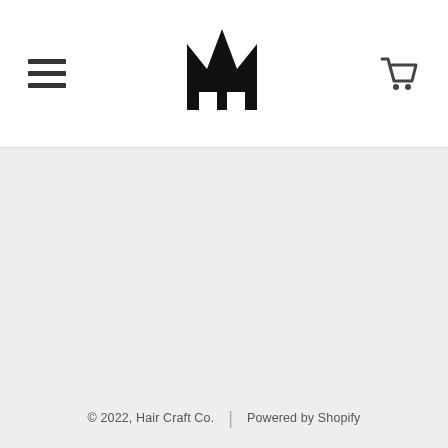Hair Craft Co. navigation header with hamburger menu, crown logo, and cart icon
Links
Search
Policies
Contact
Blog
Our Story
Buy Wholesale
© 2022, Hair Craft Co. | Powered by Shopify